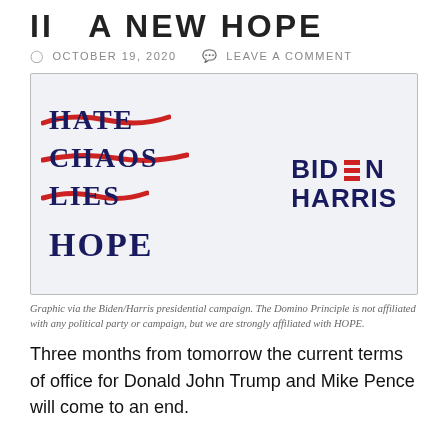II   A NEW HOPE
OCTOBER 19, 2020   LEAVE A COMMENT
[Figure (illustration): Biden/Harris campaign graphic showing the words HATE, CHAOS, and LIES each crossed out with a red strikethrough, and below them the word HOPE in bold dark blue. To the right is the Biden Harris campaign logo with a flag icon replacing the letter I in BIDEN.]
Graphic via the Biden/Harris presidential campaign. The Domino Principle is not affiliated with any political party or campaign, but we are strongly affiliated with HOPE.
Three months from tomorrow the current terms of office for Donald John Trump and Mike Pence will come to an end.